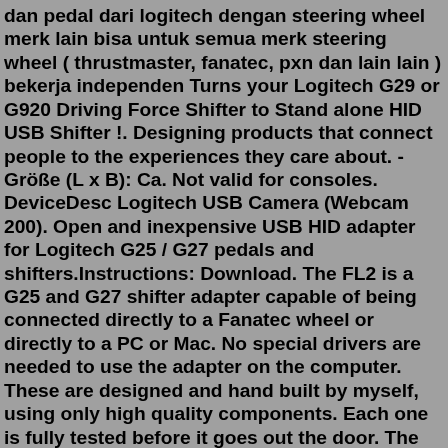dan pedal dari logitech dengan steering wheel merk lain bisa untuk semua merk steering wheel ( thrustmaster, fanatec, pxn dan lain lain ) bekerja independen Turns your Logitech G29 or G920 Driving Force Shifter to Stand alone HID USB Shifter !. Designing products that connect people to the experiences they care about. - Größe (L x B): Ca. Not valid for consoles. DeviceDesc Logitech USB Camera (Webcam 200). Open and inexpensive USB HID adapter for Logitech G25 / G27 pedals and shifters.Instructions: Download. The FL2 is a G25 and G27 shifter adapter capable of being connected directly to a Fanatec wheel or directly to a PC or Mac. No special drivers are needed to use the adapter on the computer. These are designed and hand built by myself, using only high quality components. Each one is fully tested before it goes out the door. The video guide is at the bottom of the page USB Adapter for Logitech G25 / G27 /G29 / G920 / G923 Pedals 000 dari toko online BCT_bry, Kab Obokidly Pedal Gear Shifter to PC Systems USB Converter Board Simagic